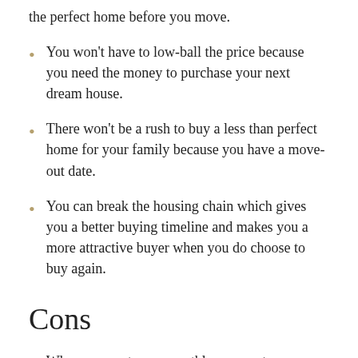the perfect home before you move.
You won't have to low-ball the price because you need the money to purchase your next dream house.
There won't be a rush to buy a less than perfect home for your family because you have a move-out date.
You can break the housing chain which gives you a better buying timeline and makes you a more attractive buyer when you do choose to buy again.
Cons
When you rent your monthly payment can go up drastically depending on the terms of your lease.
Renting comes the possibility of taking on...